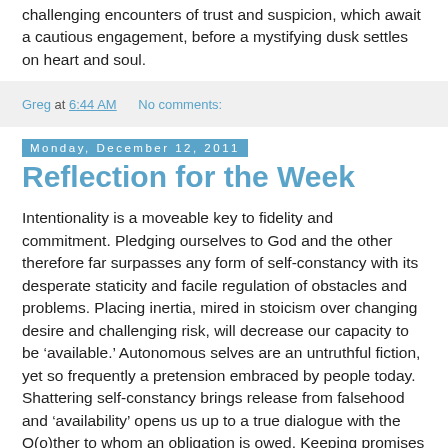challenging encounters of trust and suspicion, which await a cautious engagement, before a mystifying dusk settles on heart and soul.
Greg at 6:44 AM    No comments:
Monday, December 12, 2011
Reflection for the Week
Intentionality is a moveable key to fidelity and commitment. Pledging ourselves to God and the other therefore far surpasses any form of self-constancy with its desperate staticity and facile regulation of obstacles and problems. Placing inertia, mired in stoicism over changing desire and challenging risk, will decrease our capacity to be ‘available.’ Autonomous selves are an untruthful fiction, yet so frequently a pretension embraced by people today. Shattering self-constancy brings release from falsehood and ‘availability’ opens us up to a true dialogue with the O(o)ther to whom an obligation is owed. Keeping promises is just and being intentional in motion. Not keeping promises is unjust